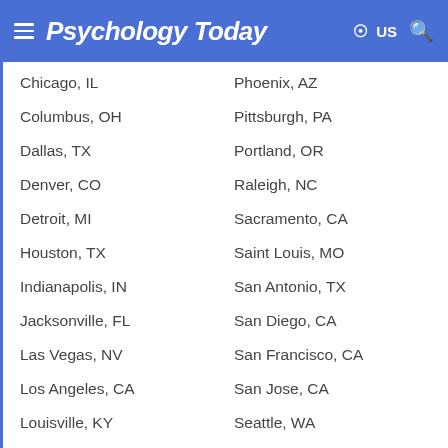Psychology Today
Chicago, IL
Columbus, OH
Dallas, TX
Denver, CO
Detroit, MI
Houston, TX
Indianapolis, IN
Jacksonville, FL
Las Vegas, NV
Los Angeles, CA
Louisville, KY
Memphis, TN
Miami, FL
Milwaukee, WI
Phoenix, AZ
Pittsburgh, PA
Portland, OR
Raleigh, NC
Sacramento, CA
Saint Louis, MO
San Antonio, TX
San Diego, CA
San Francisco, CA
San Jose, CA
Seattle, WA
Tucson, AZ
Washington, DC